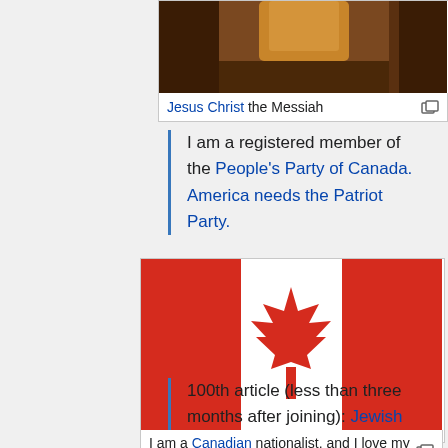[Figure (photo): Partial view of a painting of Jesus Christ — dark brown robes visible]
Jesus Christ the Messiah
I am a registered member of the People's Party of Canada. America needs the Patriot Party.
[Figure (illustration): Canadian flag — red and white with maple leaf]
I am a Canadian nationalist, and I love my country!
100th article (less than three months after joining): Jewish Defense League